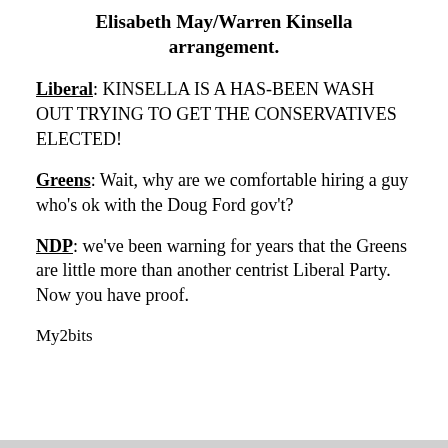Elisabeth May/Warren Kinsella arrangement.
Liberal: KINSELLA IS A HAS-BEEN WASH OUT TRYING TO GET THE CONSERVATIVES ELECTED!
Greens: Wait, why are we comfortable hiring a guy who's ok with the Doug Ford gov't?
NDP: we've been warning for years that the Greens are little more than another centrist Liberal Party. Now you have proof.
My2bits